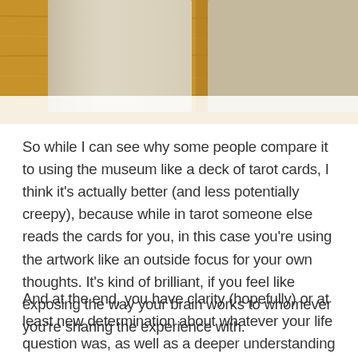[Figure (photo): Photo of what appears to be pale/cream colored rectangular objects (possibly cards or art pieces) on a wooden surface, cropped at top of page]
So while I can see why some people compare it to using the museum like a deck of tarot cards, I think it's actually better (and less potentially creepy), because while in tarot someone else reads the cards for you, in this case you're using the artwork like an outside focus for your own thoughts. It's kind of brilliant, if you feel like exposing the way your brain works to whomever you're sharing the experience with.
And at the end, you have clarity (hopefully) or at least new determination about whatever your life question was, as well as a deeper understanding of an artwork and a whole new layer of associations to add to